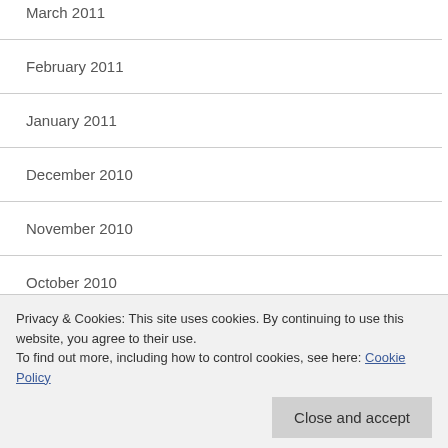March 2011
February 2011
January 2011
December 2010
November 2010
October 2010
September 2010
August 2010
Privacy & Cookies: This site uses cookies. By continuing to use this website, you agree to their use.
To find out more, including how to control cookies, see here: Cookie Policy
Close and accept